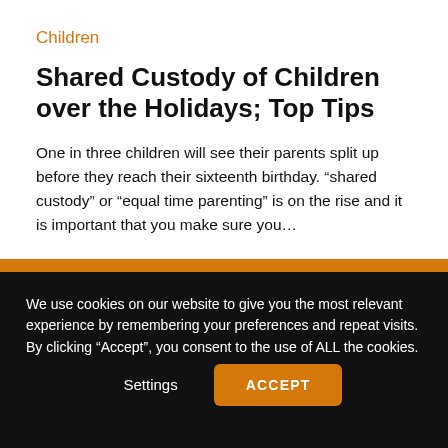Children
Shared Custody of Children over the Holidays; Top Tips
One in three children will see their parents split up before they reach their sixteenth birthday. “shared custody” or “equal time parenting” is on the rise and it is important that you make sure you…
READ
We use cookies on our website to give you the most relevant experience by remembering your preferences and repeat visits. By clicking “Accept”, you consent to the use of ALL the cookies.
Settings
ACCEPT